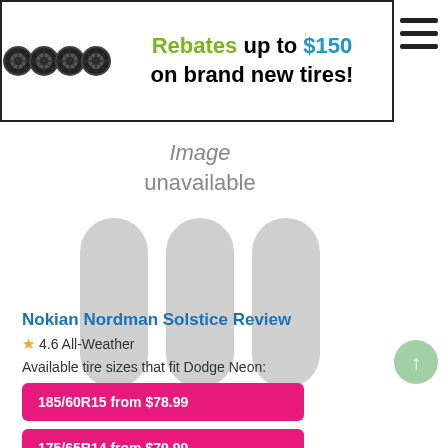[Figure (other): Banner advertisement showing four tires with text: Rebates up to $150 on brand new tires!]
[Figure (other): Image unavailable placeholder with grey pill shapes]
Nokian Nordman Solstice Review
4.6 All-Weather
Available tire sizes that fit Dodge Neon:
185/60R15 from $78.99
175/65R14 from $79.99
205/50R17 from $149.46